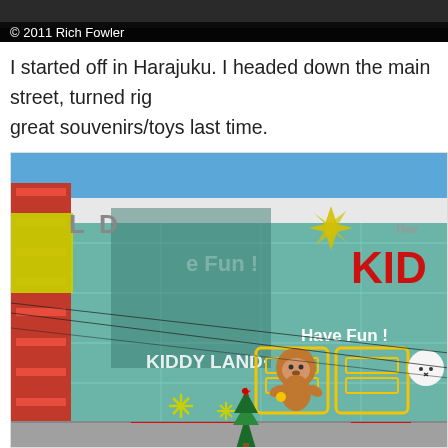[Figure (photo): Top strip of a photo showing dark background with copyright watermark '© 2011 Rich Fowler' in white text at bottom left]
I started off in Harajuku. I headed down the main street, turned rig… great souvenirs/toys last time.
[Figure (photo): Exterior photo of Kiddy Land store in Harajuku, Japan. Large teal/green glass building with 'KIDDY LAND' text, 'Have Fun!' text, cartoon bear (Rilakkuma) illustrations, yellow snowflake decorations, red and yellow flags/banners on the left, Christmas tree visible at bottom, blue sky in background.]